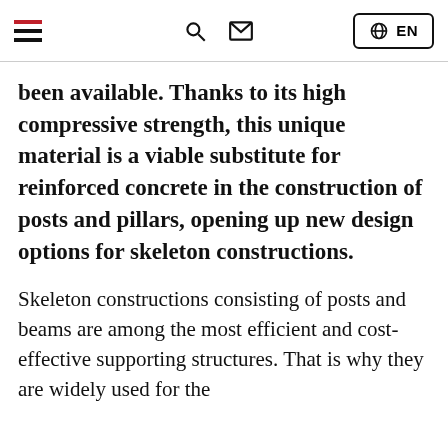≡ [search] [mail] ⊕ EN
been available. Thanks to its high compressive strength, this unique material is a viable substitute for reinforced concrete in the construction of posts and pillars, opening up new design options for skeleton constructions.
Skeleton constructions consisting of posts and beams are among the most efficient and cost-effective supporting structures. That is why they are widely used for the